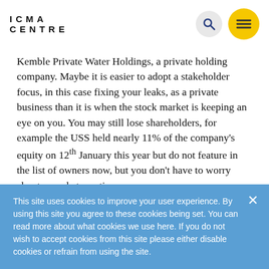ICMA CENTRE
Kemble Private Water Holdings, a private holding company. Maybe it is easier to adopt a stakeholder focus, in this case fixing your leaks, as a private business than it is when the stock market is keeping an eye on you. You may still lose shareholders, for example the USS held nearly 11% of the company’s equity on 12th January this year but do not feature in the list of owners now, but you don’t have to worry about a market reaction.
This site uses cookies to improve your user experience. By using this site you agree to these cookies being set. You can read more about what cookies we use here. If you do not wish to accept cookies from this site please either disable cookies or refrain from using the site.